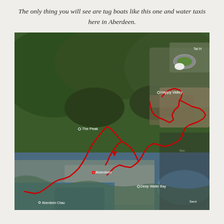The only thing you will see are tug boats like this one and water taxis here in Aberdeen.
[Figure (map): Satellite/aerial map of Hong Kong showing a red route tracing from Happy Valley through hilly terrain down to Aberdeen and along the coast. Key locations labeled include The Peak, Happy Valley, Aberdeen, Deep Water Bay, and Aberdeen Typhoon Shelter. The route is drawn in red with arrows indicating direction of travel.]